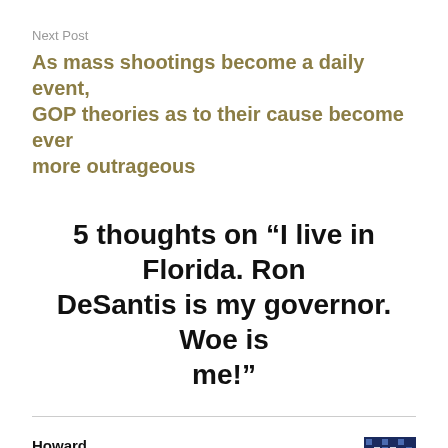Next Post
As mass shootings become a daily event, GOP theories as to their cause become ever more outrageous
5 thoughts on “I live in Florida. Ron DeSantis is my governor. Woe is me!”
Howard
June 5, 2022 at 11:24 am
Too bad that they can’t pull out and hold it somewhere